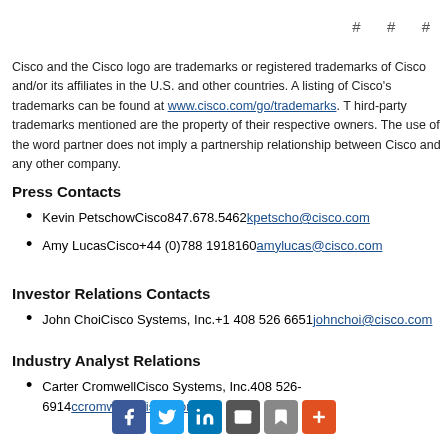# # #
Cisco and the Cisco logo are trademarks or registered trademarks of Cisco and/or its affiliates in the U.S. and other countries. A listing of Cisco’s trademarks can be found at www.cisco.com/go/trademarks. Third-party trademarks mentioned are the property of their respective owners. The use of the word partner does not imply a partnership relationship between Cisco and any other company.
Press Contacts
Kevin PetschowCisco847.678.5462kpetscho@cisco.com
Amy LucasCisco+44 (0)788 1918160amylucas@cisco.com
Investor Relations Contacts
John ChoiCisco Systems, Inc.+1 408 526 6651johnchoi@cisco.com
Industry Analyst Relations
Carter CromwellCisco Systems, Inc.408 526-6914ccromwel@cisco.com
[Figure (infographic): Social media sharing icons: Facebook, Twitter, LinkedIn, Email, Share, More]